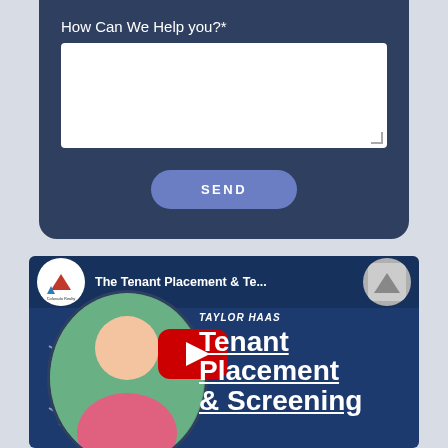How Can We Help you?*
[Figure (screenshot): Web form with a text area and a SEND button on a dark navy card, and below a YouTube video thumbnail featuring Taylor Haas and text about Tenant Placement & Screening]
SEND
The Tenant Placement & Te...
TAYLOR HAAS
Tenant Placement & Screening